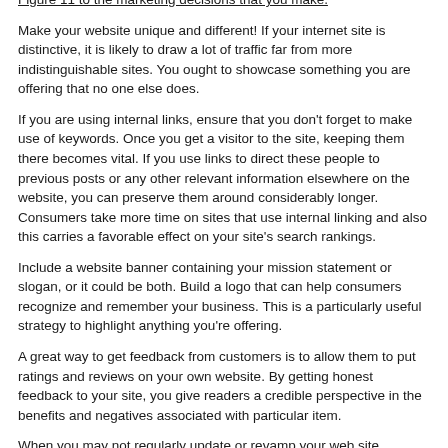Figure 11 to the marketing decisions that you make.
Make your website unique and different! If your internet site is distinctive, it is likely to draw a lot of traffic far from more indistinguishable sites. You ought to showcase something you are offering that no one else does.
If you are using internal links, ensure that you don't forget to make use of keywords. Once you get a visitor to the site, keeping them there becomes vital. If you use links to direct these people to previous posts or any other relevant information elsewhere on the website, you can preserve them around considerably longer. Consumers take more time on sites that use internal linking and also this carries a favorable effect on your site's search rankings.
Include a website banner containing your mission statement or slogan, or it could be both. Build a logo that can help consumers recognize and remember your business. This is a particularly useful strategy to highlight anything you're offering.
A great way to get feedback from customers is to allow them to put ratings and reviews on your own website. By getting honest feedback to your site, you give readers a credible perspective in the benefits and negatives associated with particular item.
When you may not regularly update or revamp your web site, consider